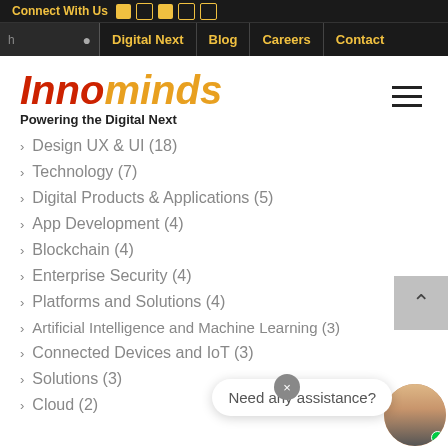Connect With Us [LinkedIn] [Twitter] [Facebook] [YouTube] [Email]
Digital Next | Blog | Careers | Contact
Innominds – Powering the Digital Next
Design UX & UI (18)
Technology (7)
Digital Products & Applications (5)
App Development (4)
Blockchain (4)
Enterprise Security (4)
Platforms and Solutions (4)
Artificial Intelligence and Machine Learning (3)
Connected Devices and IoT (3)
Solutions (3)
Cloud (2)